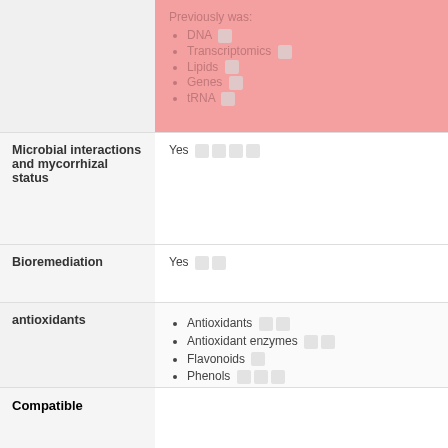Previously was:
DNA
Transcriptomics
Lipids
Genes
tRNA
Microbial interactions and mycorrhizal status
Yes
Bioremediation
Yes
antioxidants
Antioxidants
Antioxidant enzymes
Flavonoids
Phenols
Secondary Metabolites
Quercetin glycoside
Membrane lipids
Tungtungmadic acid
Saponins
Compatible